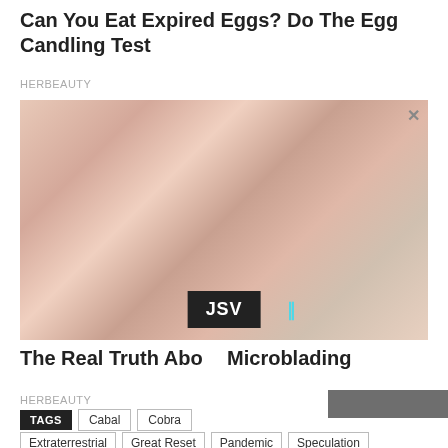Can You Eat Expired Eggs? Do The Egg Candling Test
HERBEAUTY
[Figure (photo): Close-up photo of a woman's face lying down while a practitioner performs a microblading procedure near her eyebrow using a fine tool. Overlaid with a JSV video badge and pause icon.]
The Real Truth About Microblading
HERBEAUTY
TAGS  Cabal  Cobra
Extraterrestrial  Great Reset  Pandemic  Speculation